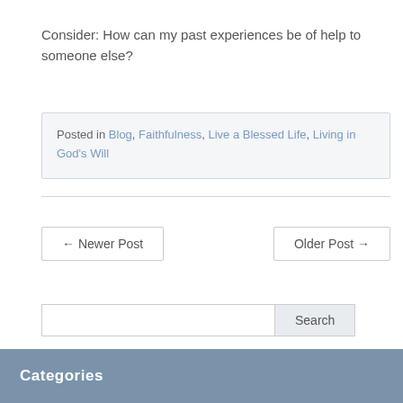Consider: How can my past experiences be of help to someone else?
Posted in Blog, Faithfulness, Live a Blessed Life, Living in God's Will
← Newer Post
Older Post →
Search
Categories